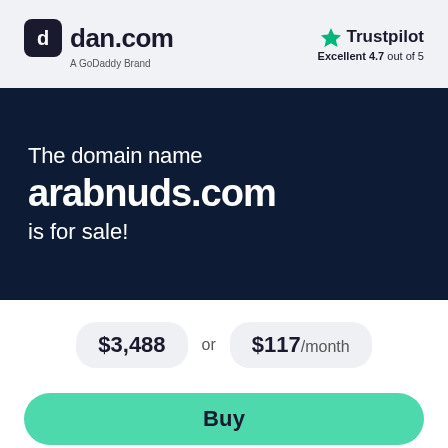[Figure (logo): dan.com logo — dark rounded square icon with letter d, followed by 'dan.com' text, subtitle 'A GoDaddy Brand']
[Figure (logo): Trustpilot logo — green star icon with 'Trustpilot' text, subtitle 'Excellent 4.7 out of 5']
The domain name arabnuds.com is for sale!
$3,488 or $117/month
Buy